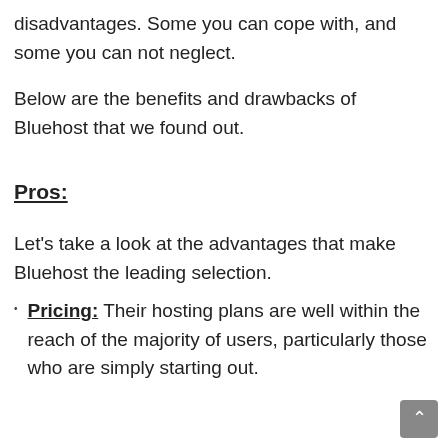disadvantages. Some you can cope with, and some you can not neglect.
Below are the benefits and drawbacks of Bluehost that we found out.
Pros:
Let's take a look at the advantages that make Bluehost the leading selection.
Pricing: Their hosting plans are well within the reach of the majority of users, particularly those who are simply starting out.